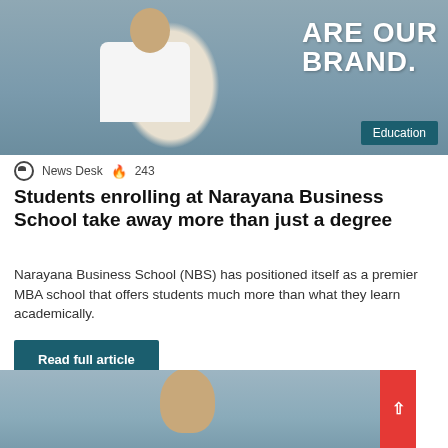[Figure (photo): Woman with arms crossed standing in front of a school banner with purple logo and text 'PEOPLE ARE OUR BRAND.']
Education
News Desk  243
Students enrolling at Narayana Business School take away more than just a degree
Narayana Business School (NBS) has positioned itself as a premier MBA school that offers students much more than what they learn academically.
Read full article
[Figure (photo): Man with glasses in a grey background, partial view showing head and shoulders]